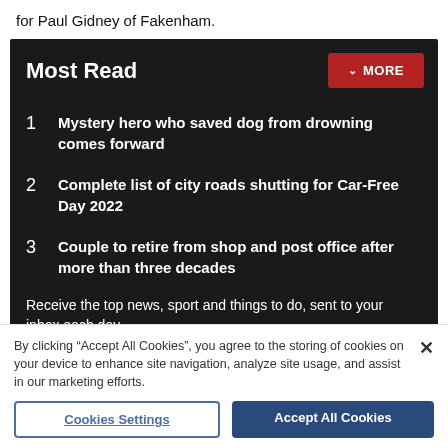for Paul Gidney of Fakenham.
Most Read
1  Mystery hero who saved dog from drowning comes forward
2  Complete list of city roads shutting for Car-Free Day 2022
3  Couple to retire from shop and post office after more than three decades
Receive the top news, sport and things to do, sent to your inbox each day...
By clicking "Accept All Cookies", you agree to the storing of cookies on your device to enhance site navigation, analyze site usage, and assist in our marketing efforts.